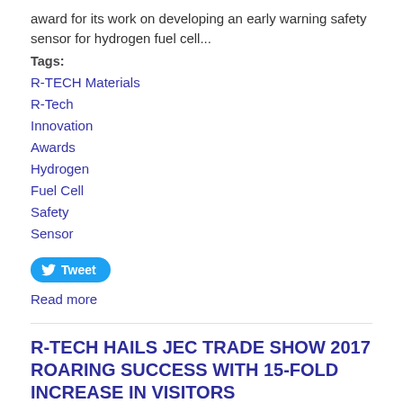award for its work on developing an early warning safety sensor for hydrogen fuel cell...
Tags:
R-TECH Materials
R-Tech
Innovation
Awards
Hydrogen
Fuel Cell
Safety
Sensor
Tweet
Read more
R-TECH HAILS JEC TRADE SHOW 2017 ROARING SUCCESS WITH 15-FOLD INCREASE IN VISITORS
Submitted on Thu 23 Mar 2017
R-TECH Materials, a rapidly growing UK composites testing business, is celebrating after a 15-fold increase in visitors to its